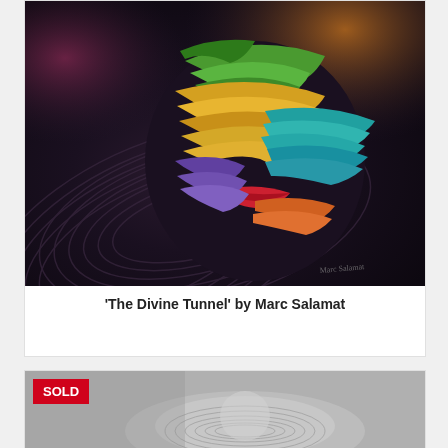[Figure (illustration): Colorful surrealist painting of a masked face with swirling dark background, vibrant rainbow-colored stripes forming the mask and face, titled 'The Divine Tunnel' by Marc Salamat]
‘The Divine Tunnel’ by Marc Salamat
[Figure (illustration): Black and white artwork partially visible, with a red 'SOLD' badge overlay in the top-left corner]